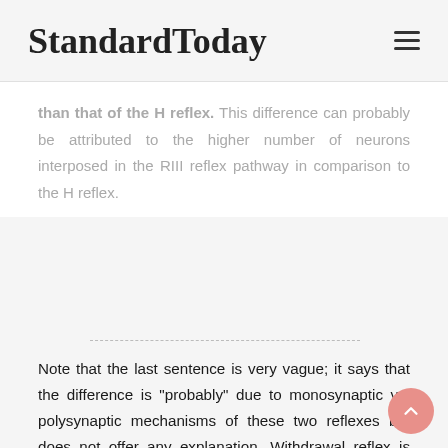StandardToday
than that of the H reflex. This difference can probably be attributed to the higher number of neurons interposed in the RIII reflex pathway in comparison to the H reflex.
Note that the last sentence is very vague; it says that the difference is "probably" due to monosynaptic vs. polysynaptic mechanisms of these two reflexes but does not offer any explanation. Withdrawal reflex is mediated by an excitatory interneuron and propofol acts on GABA (which is inhibitory transmitter),